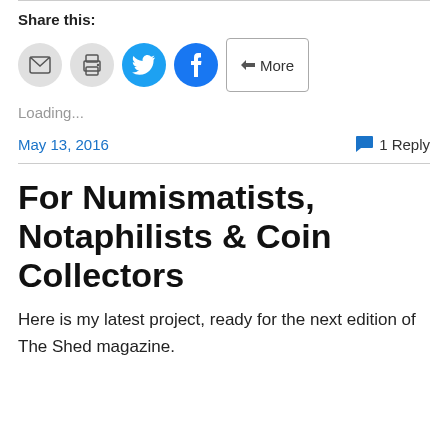Share this:
[Figure (infographic): Social share buttons: email (gray circle), print (gray circle), Twitter (blue circle), Facebook (blue circle), More (outlined button)]
Loading...
May 13, 2016    1 Reply
For Numismatists, Notaphilists & Coin Collectors
Here is my latest project, ready for the next edition of The Shed magazine.